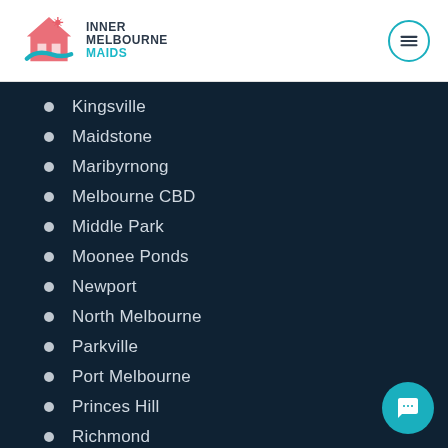[Figure (logo): Inner Melbourne Maids logo with house icon and teal/pink colors]
Kingsville
Maidstone
Maribyrnong
Melbourne CBD
Middle Park
Moonee Ponds
Newport
North Melbourne
Parkville
Port Melbourne
Princes Hill
Richmond
Seddon
South Kingsville
South Melbourne
South Wharf
South Yarra